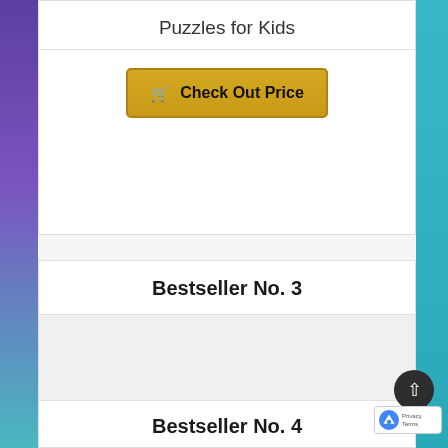Puzzles for Kids
Check Out Price
Bestseller No. 3
[Figure (photo): Product image placeholder for Bestseller No. 3]
Quick Strike Math Game - Free Practice and Drills
Check Out Price
Bestseller No. 4